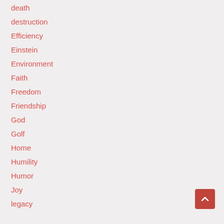death
destruction
Efficiency
Einstein
Environment
Faith
Freedom
Friendship
God
Golf
Home
Humility
Humor
Joy
legacy